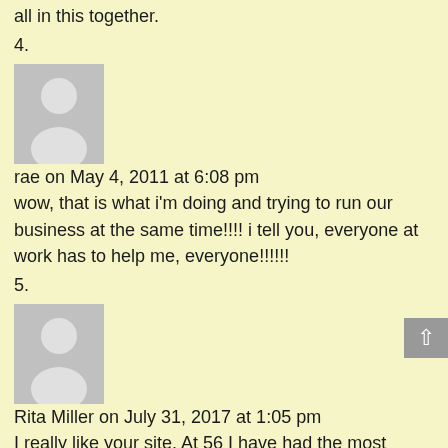all in this together.
4.
[Figure (illustration): Default user avatar placeholder - grey circle and torso silhouette on grey background]
rae on May 4, 2011 at 6:08 pm
wow, that is what i'm doing and trying to run our business at the same time!!!! i tell you, everyone at work has to help me, everyone!!!!!!
5.
[Figure (illustration): Default user avatar placeholder - grey circle and torso silhouette on grey background]
Rita Miller on July 31, 2017 at 1:05 pm
I really like your site. At 56 I have had the most severe menopause of anyone I have spoken to/read about thus far. In my early 40's I